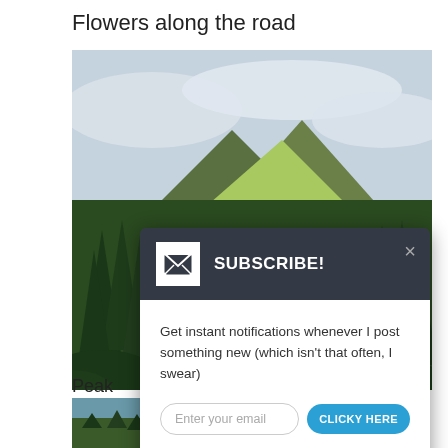Flowers along the road
[Figure (photo): Mountain landscape with evergreen trees in the foreground and a sunlit grassy hillside behind, under overcast sky]
Peak
[Figure (photo): Small thumbnail of forest/trees]
[Figure (screenshot): Subscribe popup modal with dark header showing envelope icon and 'SUBSCRIBE!' text, white body with email input and 'CLICKY HERE' button, 'Powered by Formilla.com' footer]
Get instant notifications whenever I post something new (which isn't that often, I swear)
Enter your email
CLICKY HERE
Powered by Formilla.com